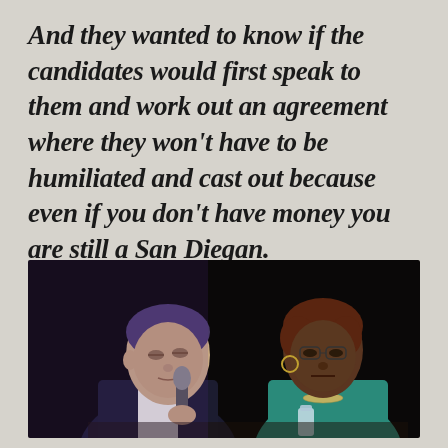And they wanted to know if the candidates would first speak to them and work out an agreement where they won't have to be humiliated and cast out because even if you don't have money you are still a San Diegan.
[Figure (photo): Two people seated at what appears to be a panel or debate. On the left is a man in a dark suit holding a microphone. On the right is a woman with short reddish hair wearing a teal/green jacket and a necklace, with a water bottle on the table in front of her. The background is dark/black.]